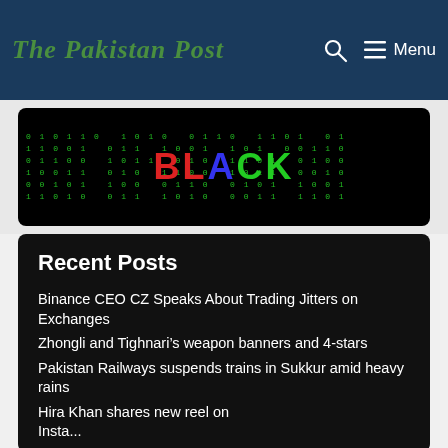The Pakistan Post | Menu
[Figure (photo): Black banner with green matrix-style code text and colorful 'BLACK' text overlay in the center]
Recent Posts
Binance CEO CZ Speaks About Trading Jitters on Exchanges
Zhongli and Tighnari's weapon banners and 4-stars
Pakistan Railways suspends trains in Sukkur amid heavy rains
Hira Khan shares new reel on Instagram